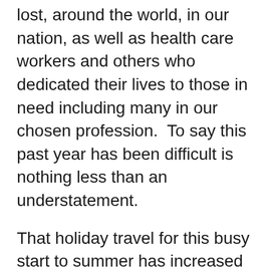lost, around the world, in our nation, as well as health care workers and others who dedicated their lives to those in need including many in our chosen profession.  To say this past year has been difficult is nothing less than an understatement.
That holiday travel for this busy start to summer has increased as the travel industry rebounds is a welcome, yet bittersweet, relief and a reminder of those who are no longer here to celebrate this holiday and our recovery with us.  Each of the individuals we have lost to the pandemic played an important role in the journey we've taken to arrive at this holiday weekend.  May all those we remember this Memorial Day weekend, rest in peace.